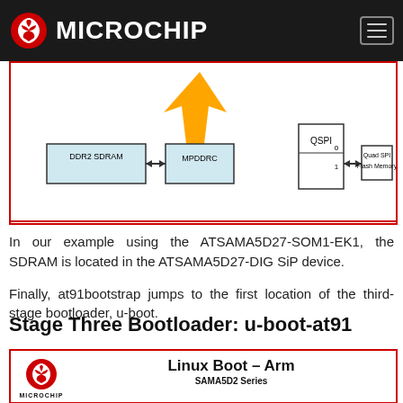Microchip
[Figure (engineering-diagram): Block diagram showing DDR2 SDRAM connected to MPDDRC, and QSPI connected to Quad SPI Flash Memory, with orange arrow indicating data flow. Partial view cropped at top.]
In our example using the ATSAMA5D27-SOM1-EK1, the SDRAM is located in the ATSAMA5D27-DIG SiP device.
Finally, at91bootstrap jumps to the first location of the third-stage bootloader, u-boot.
Stage Three Bootloader: u-boot-at91
[Figure (schematic): Microchip Linux Boot - Arm SAMA5D2 Series diagram showing Standard Boot Mode with Das U-Boot, Stage 1 boot loader, Load Device Tree, Mount Root Filesystem, Load Linux Kernel steps.]